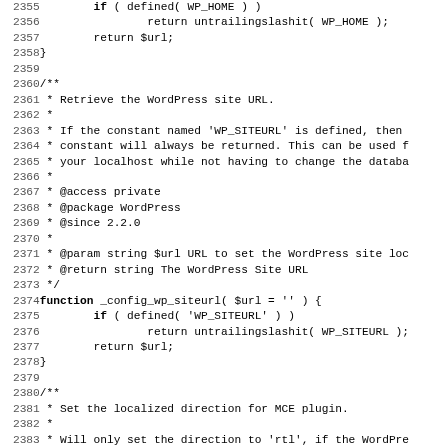[Figure (other): Source code listing showing PHP functions _config_wp_home and _config_wp_siteurl with line numbers 2355-2387, including PHPDoc comment blocks and function bodies.]